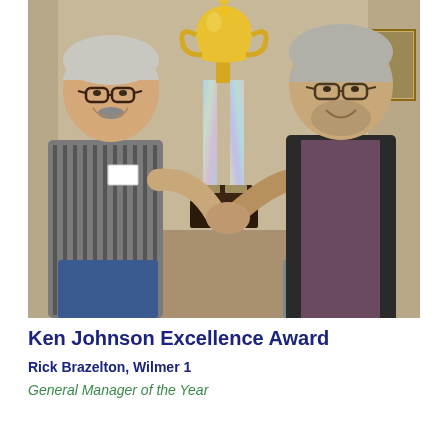[Figure (photo): Two older men shaking hands in front of a large gold trophy/cup award on a pedestal with decorative columns, standing in what appears to be an office or meeting room. The man on the left wears a striped shirt and glasses with a mustache; the man on the right wears glasses, a dark vest over a purple/maroon shirt with gray hair.]
Ken Johnson Excellence Award
Rick Brazelton, Wilmer 1
General Manager of the Year